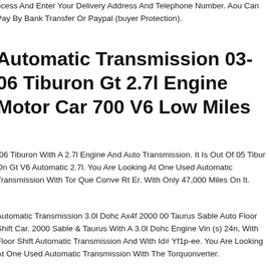ocess And Enter Your Delivery Address And Telephone Number. You Can Pay By Bank Transfer Or Paypal (buyer Protection).
Automatic Transmission 03-06 Tiburon Gt 2.7l Engine Motor Car 700 V6 Low Miles
-06 Tiburon With A 2.7l Engine And Auto Transmission. It Is Out Of 05 Tibur On Gt V6 Automatic 2.7l. You Are Looking At One Used Automatic Transmission With Tor Que Conve Rt Er. With Only 47,000 Miles On It.
Automatic Transmission 3.0l Dohc Ax4f 2000 00 Taurus Sable Auto Floor Shift Car. 2000 Sable & Taurus With A 3.0l Dohc Engine Vin (s) 24n, With Floor Shift Automatic Transmission And With Id# Yf1p-ee. You Are Looking At One Used Automatic Transmission With The Torque Converter.